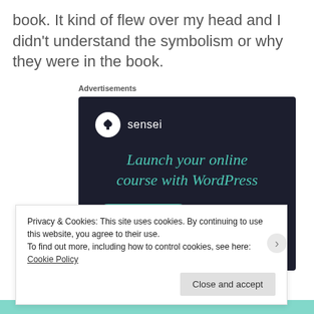book. It kind of flew over my head and I didn't understand the symbolism or why they were in the book.
Advertisements
[Figure (advertisement): Sensei advertisement with dark navy background. Shows Sensei logo (tree icon in white circle), tagline 'Launch your online course with WordPress' in teal italic serif font, and a teal 'Learn More' button.]
Privacy & Cookies: This site uses cookies. By continuing to use this website, you agree to their use.
To find out more, including how to control cookies, see here: Cookie Policy
Close and accept